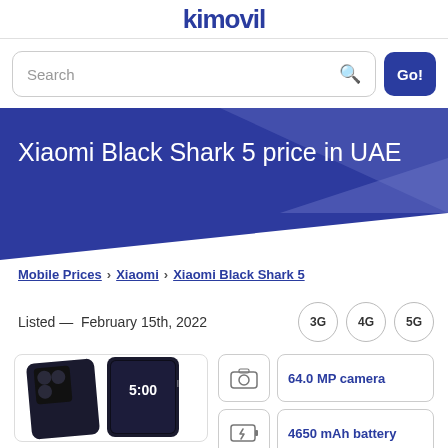kimovil
Search   Go!
Xiaomi Black Shark 5 price in UAE
Mobile Prices › Xiaomi › Xiaomi Black Shark 5
Listed — February 15th, 2022
3G  4G  5G
[Figure (photo): Xiaomi Black Shark 5 smartphone photo showing front and back]
64.0 MP camera
4650 mAh battery
6.6" diagonal